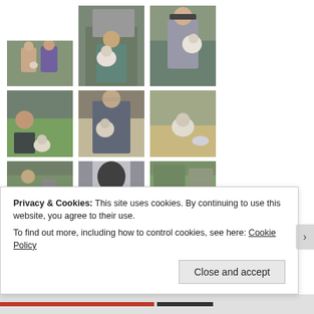[Figure (photo): Grid of photos showing people with small dogs (likely Shih Tzus). Row 1: two women holding a dog outdoors; person holding dog in car; man in sunglasses holding dog outdoors. Row 2: man crouching with dog outdoors; woman in sunglasses holding dog; dog alone outdoors with bowl. Row 3 (partial): three partially visible photos.]
Privacy & Cookies: This site uses cookies. By continuing to use this website, you agree to their use.
To find out more, including how to control cookies, see here: Cookie Policy
Close and accept